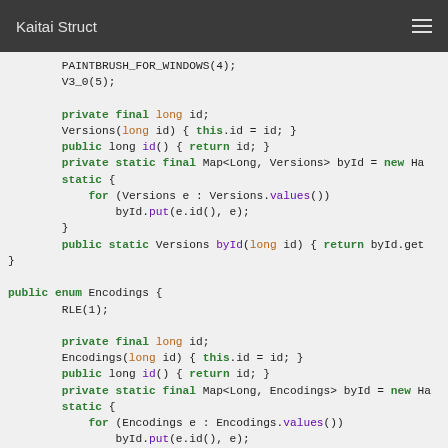Kaitai Struct
Code snippet showing Java enum definitions for Versions and Encodings in Kaitai Struct generated code